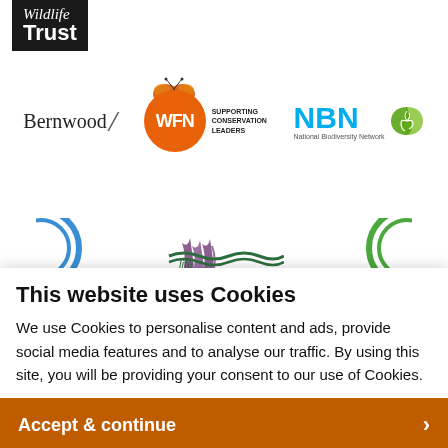[Figure (logo): Wildlife Trust logo - black box with italic cursive text above and bold 'Trust' below]
[Figure (logo): Bernwood logo - serif text with stylized slash]
[Figure (logo): WFN (Wildlife & Flora Network) orange circle logo with butterfly and 'Supporting Conservation Leaders' text]
[Figure (logo): NBN National Biodiversity Network logo with blue letters and green spiral]
[Figure (logo): Partial logos strip at bottom of background section including a wildlife/nature organization]
This website uses Cookies
We use Cookies to personalise content and ads, provide social media features and to analyse our traffic. By using this site, you will be providing your consent to our use of Cookies.
Accept & continue